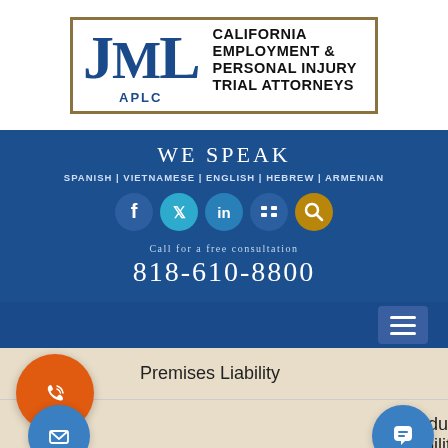[Figure (logo): JML APLC law firm logo with California Employment & Personal Injury Trial Attorneys text, inside gold border]
WE SPEAK
SPANISH | VIETNAMESE | ENGLISH | HEBREW | ARMENIAN
[Figure (infographic): Social media icons: Facebook, Twitter, LinkedIn, YouTube, Search]
Call for a free consultation
818-610-8800
Premises Liability
Product Liability
Retaliation